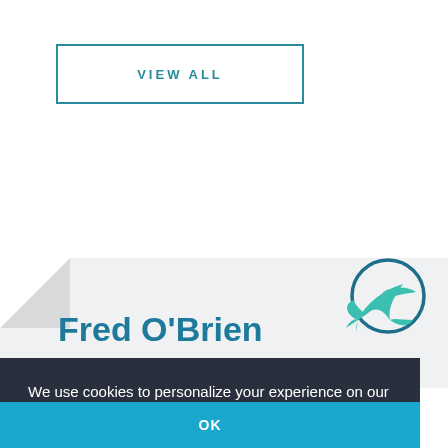VIEW ALL
[Figure (logo): Bird logo with circle - teal/turquoise swift bird inside a dark teal circular outline]
Fred O'Brien
We use cookies to personalize your experience on our site. To find out more, please read our data policy.
OK